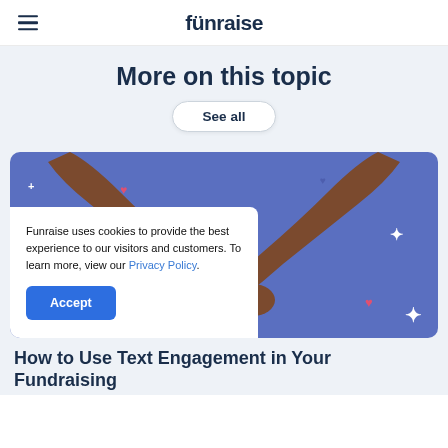funraise
More on this topic
See all
[Figure (illustration): Illustration of two dark-skinned arms forming a heart shape with hands, holding a pink smartphone, on a blue background with hearts and sparkle stars.]
Funraise uses cookies to provide the best experience to our visitors and customers. To learn more, view our Privacy Policy.
Accept
How to Use Text Engagement in Your Fundraising